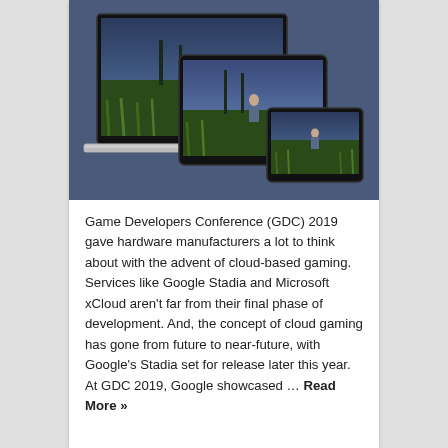[Figure (screenshot): A game screenshot showing a dark atmospheric forest scene with a character, displayed across multiple device screens: a laptop, a tablet, and a smartphone arranged in a cascading layout.]
Game Developers Conference (GDC) 2019 gave hardware manufacturers a lot to think about with the advent of cloud-based gaming. Services like Google Stadia and Microsoft xCloud aren't far from their final phase of development. And, the concept of cloud gaming has gone from future to near-future, with Google's Stadia set for release later this year. At GDC 2019, Google showcased … Read More »